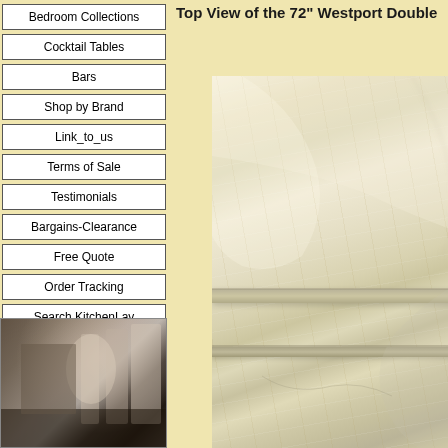Bedroom Collections
Cocktail Tables
Bars
Shop by Brand
Link_to_us
Terms of Sale
Testimonials
Bargains-Clearance
Free Quote
Order Tracking
Search KitchenLav
Top View of the 72" Westport Double
[Figure (photo): Close-up top view of a marble or stone surface, cream/beige colored with natural veining, showing shelf edges or ledges]
[Figure (photo): Interior showroom or kitchen display with cabinetry and appliances]